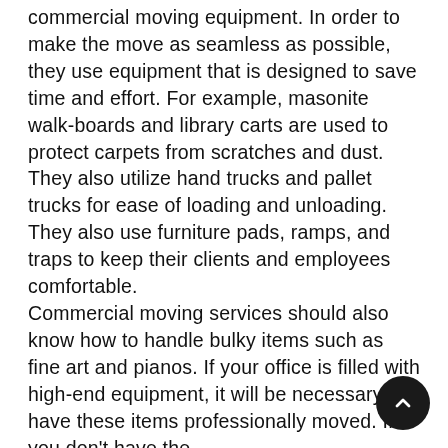movers are highly skilled in utilizing the latest commercial moving equipment. In order to make the move as seamless as possible, they use equipment that is designed to save time and effort. For example, masonite walk-boards and library carts are used to protect carpets from scratches and dust. They also utilize hand trucks and pallet trucks for ease of loading and unloading. They also use furniture pads, ramps, and traps to keep their clients and employees comfortable.
Commercial moving services should also know how to handle bulky items such as fine art and pianos. If your office is filled with high-end equipment, it will be necessary to have these items professionally moved. If you don't have the